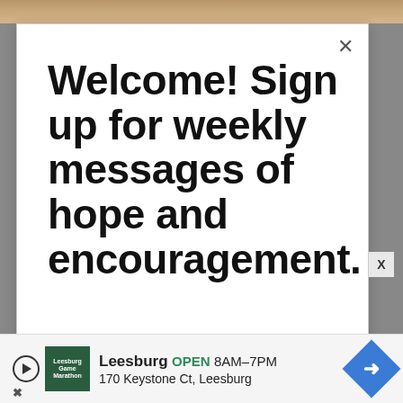[Figure (screenshot): Top brown/tan image strip at top of page]
Welcome! Sign up for weekly messages of hope and encouragement.
Email address
Subscribe
Leesburg OPEN 8AM–7PM 170 Keystone Ct, Leesburg